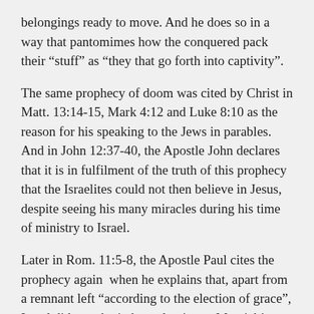belongings ready to move. And he does so in a way that pantomimes how the conquered pack their “stuff” as “they that go forth into captivity”.
The same prophecy of doom was cited by Christ in Matt. 13:14-15, Mark 4:12 and Luke 8:10 as the reason for his speaking to the Jews in parables. And in John 12:37-40, the Apostle John declares that it is in fulfilment of the truth of this prophecy that the Israelites could not then believe in Jesus, despite seeing his many miracles during his time of ministry to Israel.
Later in Rom. 11:5-8, the Apostle Paul cites the prophecy again  when he explains that, apart from a remnant left “according to the election of grace”, Israel did not obtain her salvation at Messiah’s visitation. The reason? Because, according to the prophecy, they were “blinded”, God having given them “the spirit of slumber, eyes that they should not